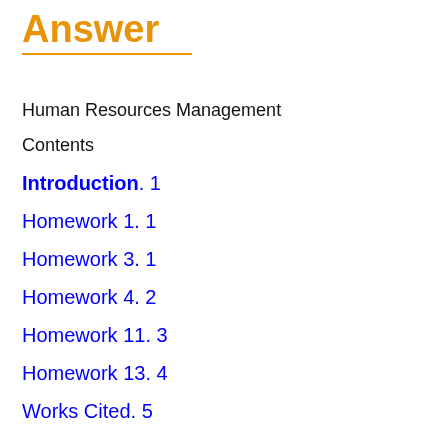Answer
Human Resources Management
Contents
Introduction. 1
Homework 1. 1
Homework 3. 1
Homework 4. 2
Homework 11. 3
Homework 13. 4
Works Cited. 5